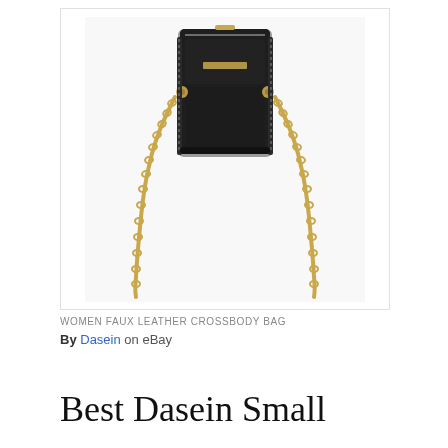[Figure (photo): A black faux leather crossbody bag with gold-tone zippers and chain strap, shown on a white background.]
WOMEN FAUX LEATHER CROSSBODY BAG
By Dasein on eBay    USD $19.99
Best Dasein Small